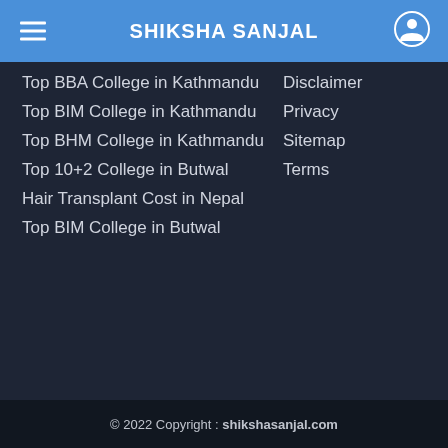SHIKSHA SANJAL
Top BBA College in Kathmandu
Disclaimer
Top BIM College in Kathmandu
Privacy
Top BHM College in Kathmandu
Sitemap
Top 10+2 College in Butwal
Terms
Hair Transplant Cost in Nepal
Top BIM College in Butwal
© 2022 Copyright : shikshasanjal.com